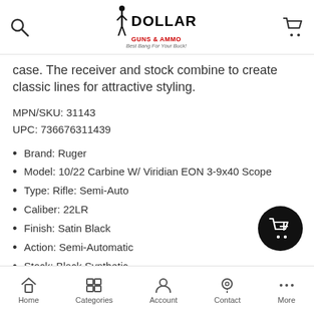Dollar Guns & Ammo — search icon, logo, cart icon
case. The receiver and stock combine to create classic lines for attractive styling.
MPN/SKU: 31143
UPC: 736676311439
Brand: Ruger
Model: 10/22 Carbine W/ Viridian EON 3-9x40 Scope
Type: Rifle: Semi-Auto
Caliber: 22LR
Finish: Satin Black
Action: Semi-Automatic
Stock: Black Synthetic
Sight: FT: Gold Bead RR: Adjustable
Barrel Length: 18.5
Home | Categories | Account | Contact | More